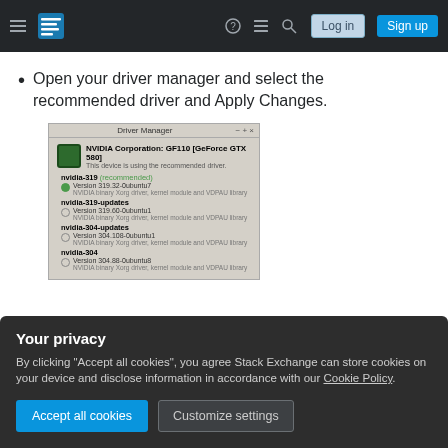Stack Exchange navigation bar with hamburger menu, logo, help, chat, search icons, Log in and Sign up buttons
Open your driver manager and select the recommended driver and Apply Changes.
[Figure (screenshot): Screenshot of the Driver Manager application showing NVIDIA Corporation GF110 [GeForce GTX 580] with driver options: nvidia-319 (recommended) with Version 319.32-0ubuntu7 selected, nvidia-319-updates Version 319.60-0ubuntu1, nvidia-304-updates Version 304.108-0ubuntu1, nvidia-304 Version 304.88-0ubuntu8. All described as NVIDIA binary Xorg driver, kernel module and VDPAU library.]
Your privacy
By clicking "Accept all cookies", you agree Stack Exchange can store cookies on your device and disclose information in accordance with our Cookie Policy.
Accept all cookies
Customize settings